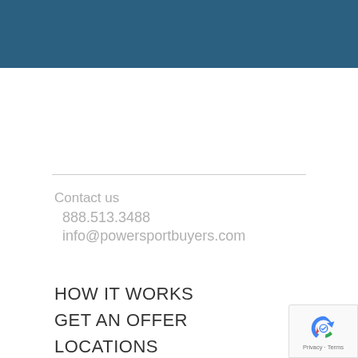Contact us
888.513.3488
info@powersportbuyers.com
HOW IT WORKS
GET AN OFFER
LOCATIONS
[Figure (logo): Google reCAPTCHA badge with Privacy · Terms text]